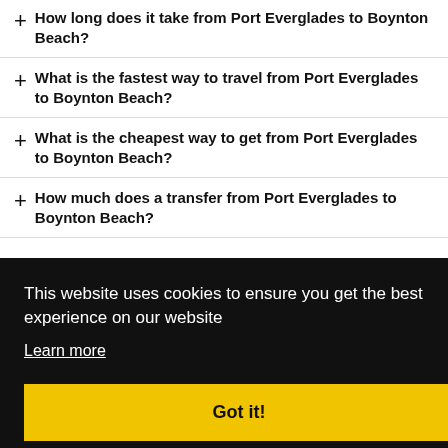+ How long does it take from Port Everglades to Boynton Beach?
+ What is the fastest way to travel from Port Everglades to Boynton Beach?
+ What is the cheapest way to get from Port Everglades to Boynton Beach?
+ How much does a transfer from Port Everglades to Boynton Beach?
This website uses cookies to ensure you get the best experience on our website. Learn more. Got it!